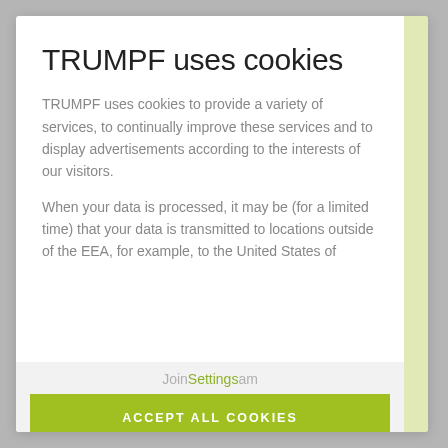TRUMPF uses cookies
TRUMPF uses cookies to provide a variety of services, to continually improve these services and to display advertisements according to the interests of our visitors.
When your data is processed, it may be (for a limited time) that your data is transmitted to locations outside of the EEA, for example, to the United States of
JoinSettingsam
ACCEPT ALL COOKIES
DATA PROTECTION   CORPORATE INFORMATION